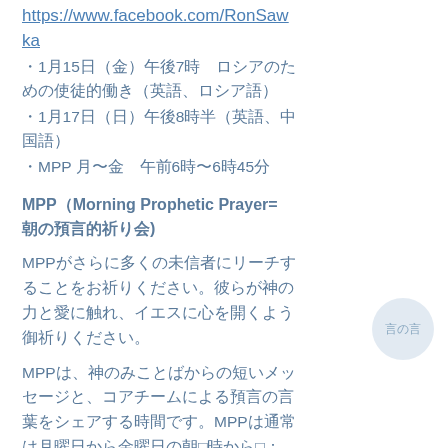https://www.facebook.com/RonSawka
・1月15日（金）午後7時　ロシアのための使徒的働き（英語、ロシア語）
・1月17日（日）午後8時半（英語、中国語）
・MPP 月〜金　午前6時〜6時45分
MPP（Morning Prophetic Prayer=朝の預言的祈り会)
MPPがさらに多くの未信者にリーチすることをお祈りください。彼らが神の力と愛に触れ、イエスに心を開くよう御祈りください。
MPPは、神のみことばからの短いメッセージと、コアチームによる預言の言葉をシェアする時間です。MPPは通常は月曜日から金曜日の朝６時から６：４５（日本時間）まで行っています。MPPはフェイスブックかYouTubeより参加いただけます。